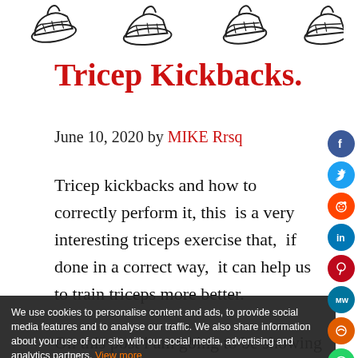[Figure (illustration): Row of four shoe/sneaker line-art illustrations at the top of the page]
Tricep Kickbacks.
June 10, 2020 by MIKE Rrsq
Tricep kickbacks and how to correctly perform it, this is a very interesting triceps exercise that, if done in a correct way, it can help us to train triceps more better.
On this post i am going to be showing you how you can perform this exercise correctly, so that we can actually target our triceps muscle by performing this
We use cookies to personalise content and ads, to provide social media features and to analyse our traffic. We also share information about your use of our site with our social media, advertising and analytics partners. View more
Cookies settings   ✓ Accept   Cookies settings